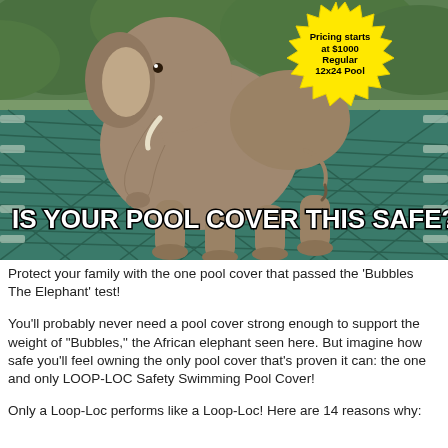[Figure (photo): Photograph of an elephant standing on a teal/green LOOP-LOC safety swimming pool cover, with a yellow starburst badge in the top right corner reading 'Pricing starts at $1000 Regular 12x24 Pool', and bold white text overlay reading 'IS YOUR POOL COVER THIS SAFE?']
Protect your family with the one pool cover that passed the 'Bubbles The Elephant' test!
You'll probably never need a pool cover strong enough to support the weight of "Bubbles," the African elephant seen here. But imagine how safe you'll feel owning the only pool cover that's proven it can: the one and only LOOP-LOC Safety Swimming Pool Cover!
Only a Loop-Loc performs like a Loop-Loc! Here are 14 reasons why: